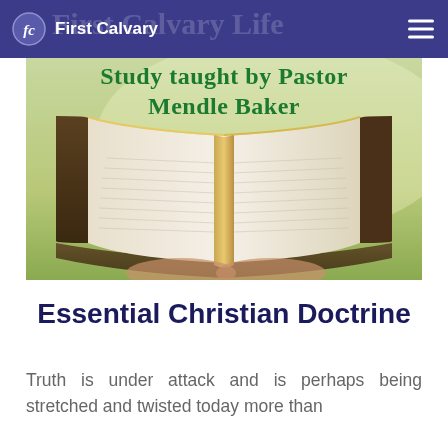First Calvary | First Calvary Life
[Figure (illustration): An open Bible/book resting on a surface outdoors with green background. Green bold text overlay reads 'Study taught by Pastor Mendle Baker']
Essential Christian Doctrine
Truth is under attack and is perhaps being stretched and twisted today more than